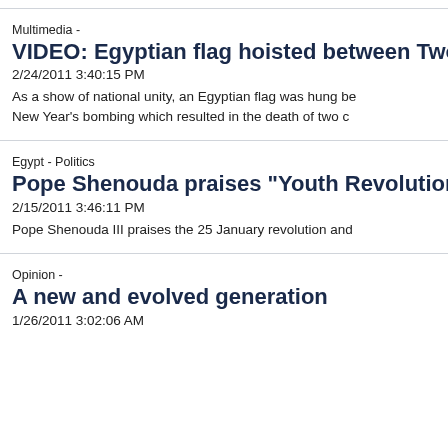Multimedia - | VIDEO: Egyptian flag hoisted between Two | 2/24/2011 3:40:15 PM | As a show of national unity, an Egyptian flag was hung be... | New Year's bombing which resulted in the death of two...
Egypt - Politics | Pope Shenouda praises "Youth Revolution... | 2/15/2011 3:46:11 PM | Pope Shenouda III praises the 25 January revolution and...
Opinion - | A new and evolved generation | 1/26/2011 3:02:06 AM